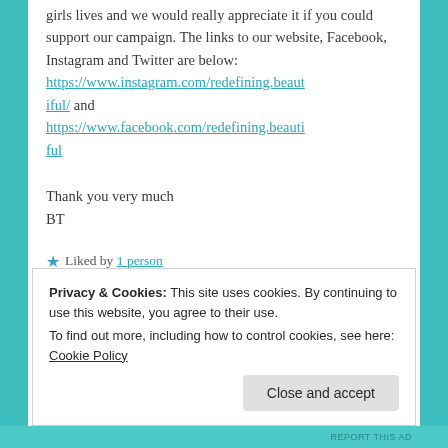girls lives and we would really appreciate it if you could support our campaign. The links to our website, Facebook, Instagram and Twitter are below: https://www.instagram.com/redefining.beautiful/ and https://www.facebook.com/redefining.beautiful
Thank you very much
BT
★ Liked by 1 person
Privacy & Cookies: This site uses cookies. By continuing to use this website, you agree to their use.
To find out more, including how to control cookies, see here: Cookie Policy
Close and accept
REPORT THIS AD